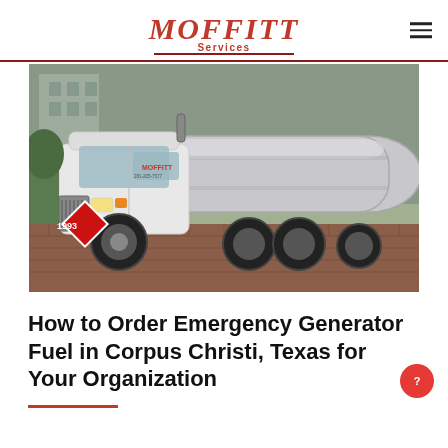Moffitt Services
[Figure (photo): A white Moffitt Services fuel tanker truck with a silver tanker trailer, featuring a hazmat placard (1993) on the front, parked on a brick surface in front of a building. Phone number 281-205-7577 visible on the door.]
How to Order Emergency Generator Fuel in Corpus Christi, Texas for Your Organization